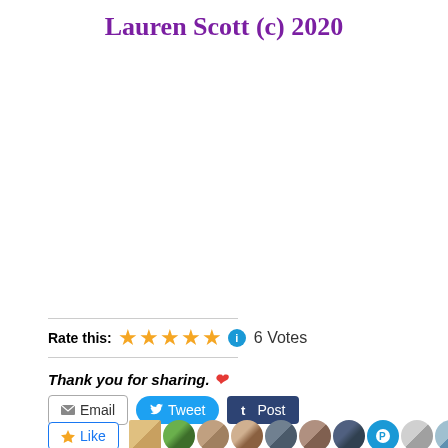Lauren Scott (c) 2020
Rate this: ★★★★★ ℹ 6 Votes
Thank you for sharing. ❤
Email  Tweet  Post
Like  [user avatars]